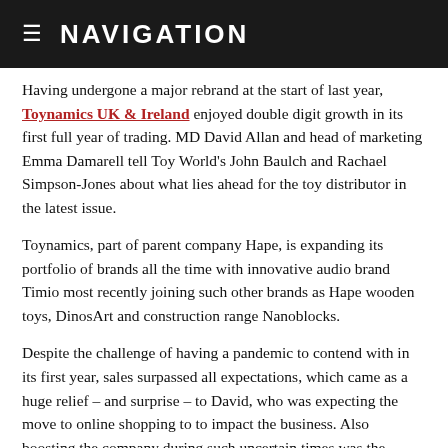NAVIGATION
Having undergone a major rebrand at the start of last year, Toynamics UK & Ireland enjoyed double digit growth in its first full year of trading. MD David Allan and head of marketing Emma Damarell tell Toy World's John Baulch and Rachael Simpson-Jones about what lies ahead for the toy distributor in the latest issue.
Toynamics, part of parent company Hape, is expanding its portfolio of brands all the time with innovative audio brand Timio most recently joining such other brands as Hape wooden toys, DinosArt and construction range Nanoblocks.
Despite the challenge of having a pandemic to contend with in its first year, sales surpassed all expectations, which came as a huge relief – and surprise – to David, who was expecting the move to online shopping to to impact the business. Also boosting the company during such uncertain times was the appointment of Emma as head of marketing – a move, he says one one of the most important decisions made during the pandemic.